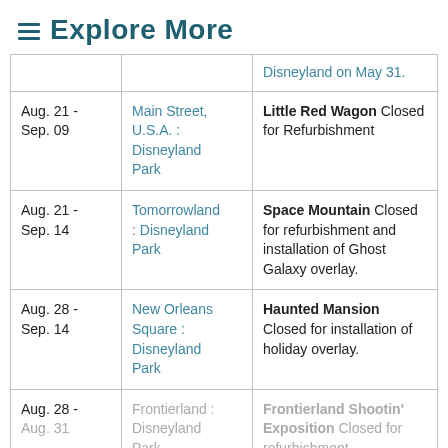Explore More
| Date | Location | Description |
| --- | --- | --- |
|  |  | Disneyland on May 31. |
| Aug. 21 - Sep. 09 | Main Street, U.S.A. : Disneyland Park | Little Red Wagon Closed for Refurbishment |
| Aug. 21 - Sep. 14 | Tomorrowland : Disneyland Park | Space Mountain Closed for refurbishment and installation of Ghost Galaxy overlay. |
| Aug. 28 - Sep. 14 | New Orleans Square : Disneyland Park | Haunted Mansion Closed for installation of holiday overlay. |
| Aug. 28 - Aug. 31 | Frontierland : Disneyland Park | Frontierland Shootin' Exposition Closed for refurbishment |